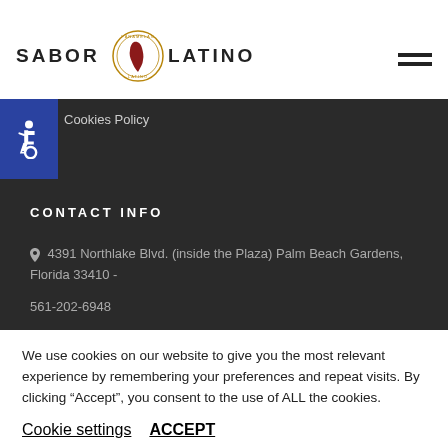SABOR LATINO
Cookies Policy
CONTACT INFO
4391 Northlake Blvd. (inside the Plaza) Palm Beach Gardens, Florida 33410 -
561-202-6948
We use cookies on our website to give you the most relevant experience by remembering your preferences and repeat visits. By clicking “Accept”, you consent to the use of ALL the cookies.
Cookie settings   ACCEPT